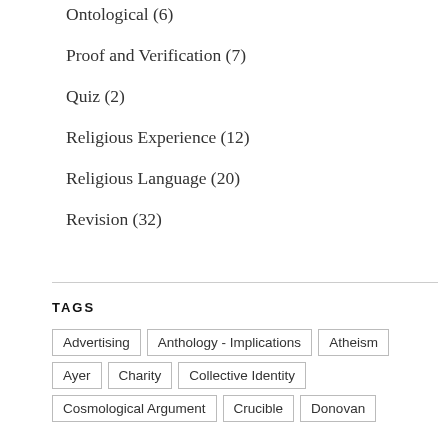Ontological (6)
Proof and Verification (7)
Quiz (2)
Religious Experience (12)
Religious Language (20)
Revision (32)
TAGS
Advertising
Anthology - Implications
Atheism
Ayer
Charity
Collective Identity
Cosmological Argument
Crucible
Donovan